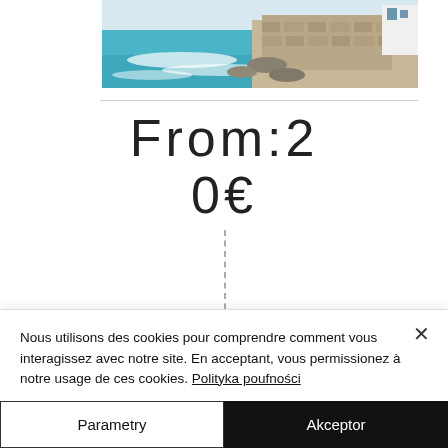[Figure (photo): Coastal scene showing a stone fortress wall along a rocky coastline with turquoise ocean waves and white buildings in the background]
From:20€
[Figure (other): Vertical dashed line separator with gray bar below]
Nous utilisons des cookies pour comprendre comment vous interagissez avec notre site. En acceptant, vous permissionez à notre usage de ces cookies. Polityka poufności
Parametry
Akceptor